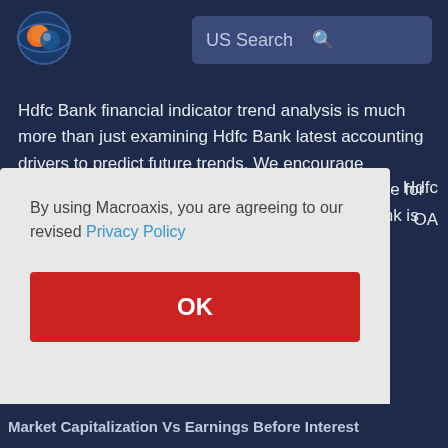[Figure (logo): Macroaxis logo - globe with orange and blue colors]
US Search
Hdfc Bank financial indicator trend analysis is much more than just examining Hdfc Bank latest accounting drivers to predict future trends. We encourage investors to analyze account correlations over time for multiple indicators to determine whether Hdfc Bank is a good
Hdfc
OA
By using Macroaxis, you are agreeing to our revised Privacy Policy
OK
Market Capitalization Vs Earnings Before Interest